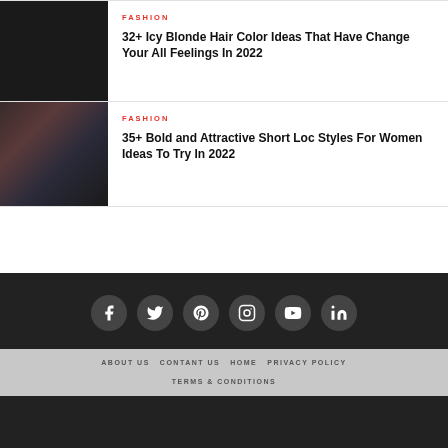FASHION
32+ Icy Blonde Hair Color Ideas That Have Change Your All Feelings In 2022
FASHION
35+ Bold and Attractive Short Loc Styles For Women Ideas To Try In 2022
[Figure (other): Social media icons row: Facebook, Twitter, Pinterest, Instagram, YouTube, LinkedIn]
ABOUT US   CONTANT US   HOME   PRIVACY POLICY   TERMS & CONDITIONS